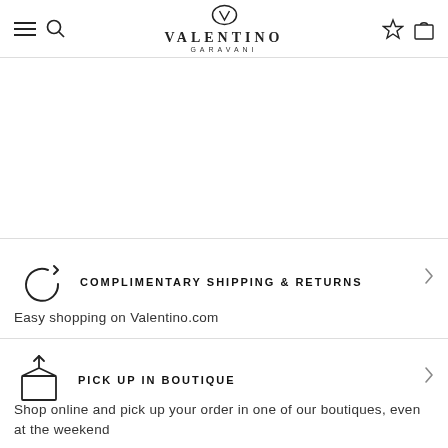VALENTINO GARAVANI
[Figure (infographic): Complimentary Shipping & Returns section with return arrow icon and chevron]
Easy shopping on Valentino.com
[Figure (infographic): Pick Up In Boutique section with box/package icon and chevron]
Shop online and pick up your order in one of our boutiques, even at the weekend